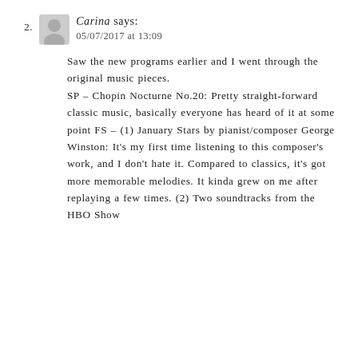2. Carina says: 05/07/2017 at 13:09
Saw the new programs earlier and I went through the original music pieces.
SP – Chopin Nocturne No.20: Pretty straight-forward classic music, basically everyone has heard of it at some point FS – (1) January Stars by pianist/composer George Winston: It's my first time listening to this composer's work, and I don't hate it. Compared to classics, it's got more memorable melodies. It kinda grew on me after replaying a few times. (2) Two soundtracks from the HBO Show